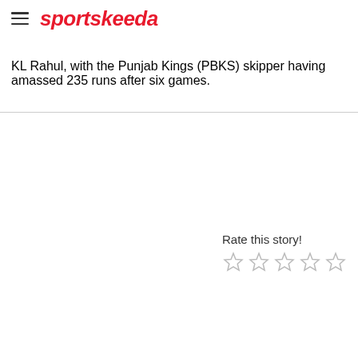sportskeeda
KL Rahul, with the Punjab Kings (PBKS) skipper having amassed 235 runs after six games.
Rate this story!